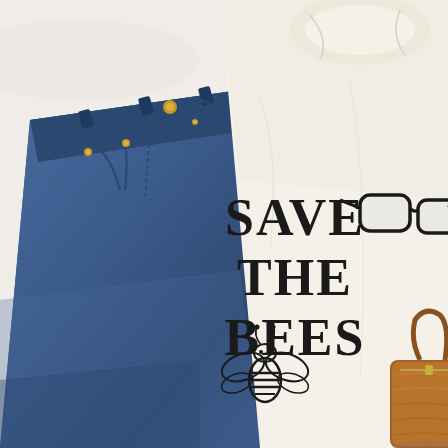[Figure (photo): Flat lay photo on white fabric background showing: folded dark blue denim jeans on the left with visible rivets and pocket details, a cream/off-white t-shirt on the right printed with the text 'SAVE THE BEES' in bold black retro font and a bee illustration below the text, black-rimmed eyeglasses in the upper right corner, and a brown leather wristlet/wallet in the lower right corner.]